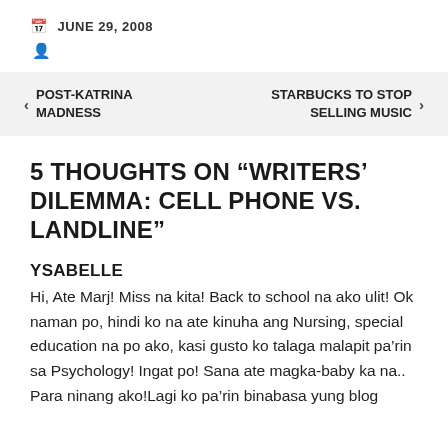JUNE 29, 2008
POST-KATRINA MADNESS   STARBUCKS TO STOP SELLING MUSIC
5 THOUGHTS ON “WRITERS’ DILEMMA: CELL PHONE VS. LANDLINE”
YSABELLE
Hi, Ate Marj! Miss na kita! Back to school na ako ulit! Ok naman po, hindi ko na ate kinuha ang Nursing, special education na po ako, kasi gusto ko talaga malapit pa’rin sa Psychology! Ingat po! Sana ate magka-baby ka na.. Para ninang ako!Lagi ko pa’rin binabasa yung blog